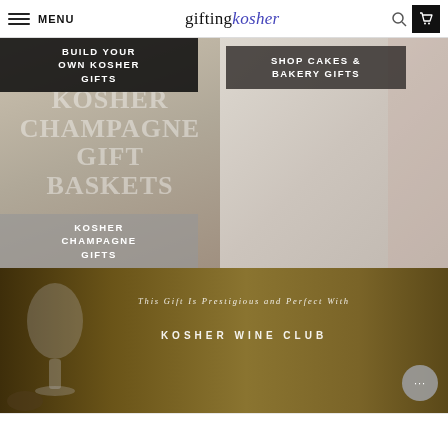MENU | giftingkosher
[Figure (screenshot): Left panel with dark overlay button 'BUILD YOUR OWN KOSHER GIFTS' and large watermark text 'KOSHER CHAMPAGNE GIFT BASKETS' and bottom overlay 'KOSHER CHAMPAGNE GIFTS']
[Figure (screenshot): Right panel with dark overlay button 'SHOP CAKES & BAKERY GIFTS']
[Figure (photo): Dark golden banner with chalice and bread image, overlay text 'This Gift Is Prestigious and Perfect With' and 'KOSHER WINE CLUB', chat bubble in bottom right]
This Gift Is Prestigious and Perfect With
KOSHER WINE CLUB